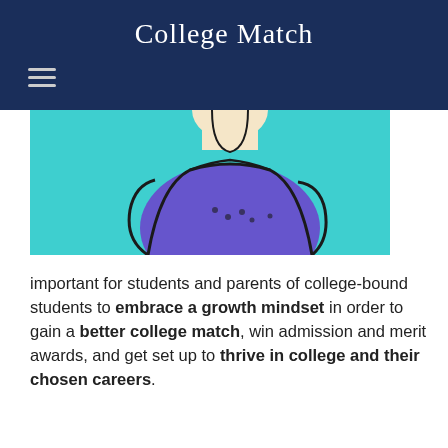College Match
[Figure (illustration): Illustration of a cartoon person wearing a purple shirt against a teal/turquoise background, shown from the shoulders up with head cut off at top of frame.]
important for students and parents of college-bound students to embrace a growth mindset in order to gain a better college match, win admission and merit awards, and get set up to thrive in college and their chosen careers.